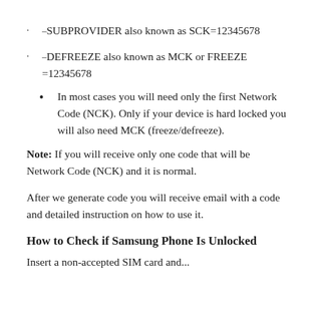–SUBPROVIDER also known as SCK=12345678
–DEFREEZE also known as MCK or FREEZE =12345678
In most cases you will need only the first Network Code (NCK). Only if your device is hard locked you will also need MCK (freeze/defreeze).
Note: If you will receive only one code that will be Network Code (NCK) and it is normal.
After we generate code you will receive email with a code and detailed instruction on how to use it.
How to Check if Samsung Phone Is Unlocked
Insert a non-accepted SIM card and...